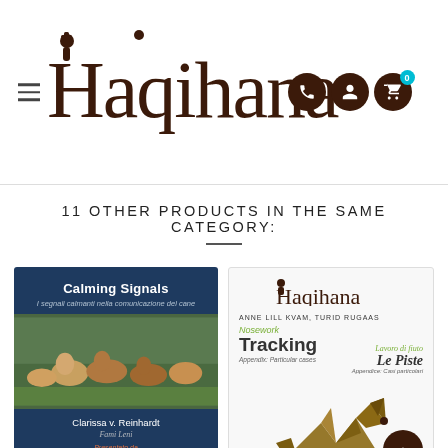[Figure (logo): Haqihana website header with hamburger menu, logo text, phone/user/cart icons]
11 OTHER PRODUCTS IN THE SAME CATEGORY:
[Figure (illustration): Book cover: Calming Signals - I segnali calmanti nella comunicazione del cane by Clarissa v. Reinhardt, Presentato da Turid Rugaas. Dark blue cover with photo of dogs in field.]
[Figure (illustration): Book cover: Nosework Tracking - Appendix: Particular cases / Lavoro di fiuto Le Piste - Appendice: Casi particolari by Anne Lill Kvam, Turid Rugaas. White cover with origami dog.]